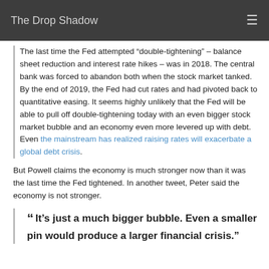The Drop Shadow
The last time the Fed attempted “double-tightening” – balance sheet reduction and interest rate hikes – was in 2018. The central bank was forced to abandon both when the stock market tanked. By the end of 2019, the Fed had cut rates and had pivoted back to quantitative easing. It seems highly unlikely that the Fed will be able to pull off double-tightening today with an even bigger stock market bubble and an economy even more levered up with debt. Even the mainstream has realized raising rates will exacerbate a global debt crisis.
But Powell claims the economy is much stronger now than it was the last time the Fed tightened. In another tweet, Peter said the economy is not stronger.
“It’s just a much bigger bubble. Even a smaller pin would produce a larger financial crisis.”